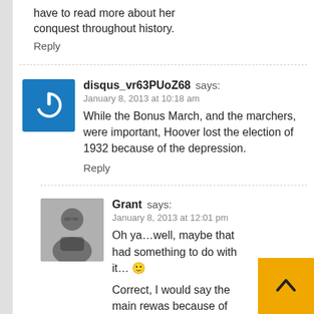have to read more about her conquest throughout history.
Reply
disqus_vr63PUoZ68 says:
January 8, 2013 at 10:18 am
While the Bonus March, and the marchers, were important, Hoover lost the election of 1932 because of the depression.
Reply
Grant says:
January 8, 2013 at 12:01 pm
Oh ya…well, maybe that had something to do with it… 🙂
Correct, I would say the main re… was because of the economy; however, I would venture to bet that